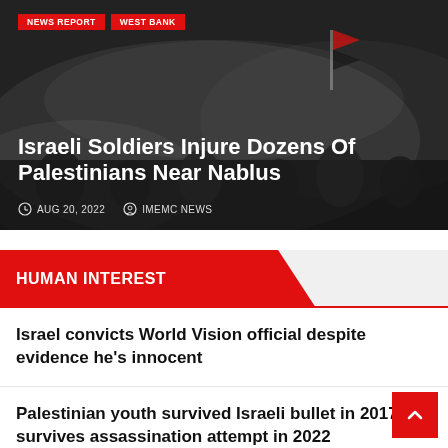[Figure (photo): News article hero image showing Palestinian crowd scene with smoke, people waving flags, dark moody background]
NEWS REPORT   WEST BANK
Israeli Soldiers Injure Dozens Of Palestinians Near Nablus
AUG 20, 2022   IMEMC NEWS
HUMAN INTEREST
Israel convicts World Vision official despite evidence he's innocent
Palestinian youth survived Israeli bullet in 2017, survives assassination attempt in 2022